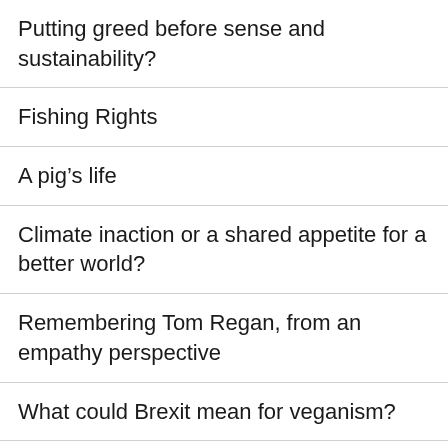Putting greed before sense and sustainability?
Fishing Rights
A pig’s life
Climate inaction or a shared appetite for a better world?
Remembering Tom Regan, from an empathy perspective
What could Brexit mean for veganism?
In or out, that’s the question (on ‘Brexit’)